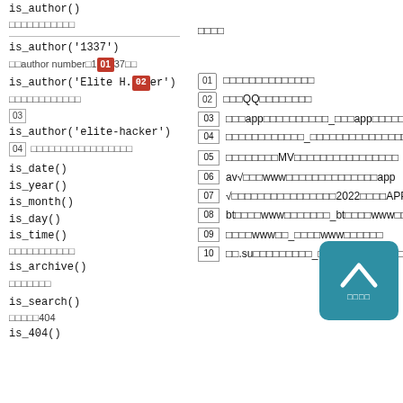is_author()
□□□□□□□□□□□　□□□□
is_author('1337')
□□author number□1337□□ [01] □□□□□□□□□□□□□□
is_author('Elite Hacker') [02] □□□QQ□□□□□□□□
□□□□□□□□□□□□ [03] □□□app□□□□□□□□□□_□□□app□□□□□□□□□□□iOS
is_author('elite-hacker')
□□□□□□□□□□□□□□□□□ [04] □□□□□□□□□□□□_□□□□□□□□□□□□□□□
is_date()
[05] □□□□□□□□MV□□□□□□□□□□□□□□□□
is_year()
[06] av√□□□www□□□□□□□□□□□□□□app
is_month()
[07] √□□□□□□□□□□□□□□□□2022□□□□APP
is_day()
[08] bt□□□□www□□□□□□□_bt□□□□www□□□□□□□□
is_time()
[09] □□□□www□□_□□□□www□□□□□□
□□□□□□□□□□□
[10] □□.su□□□□□□□□□_□□.su□□□□□□□□□□iOS
is_archive()
□□□□□□□
is_search()
□□□□□404
is_404()